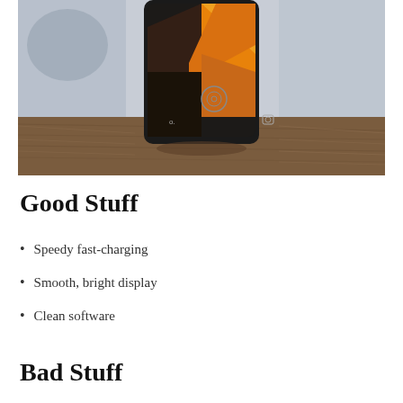[Figure (photo): A smartphone photographed from the front at a low angle on a wooden surface. The phone screen shows a colorful orange and dark wallpaper with circular icons at the bottom. The background is blurred.]
Good Stuff
Speedy fast-charging
Smooth, bright display
Clean software
Bad Stuff